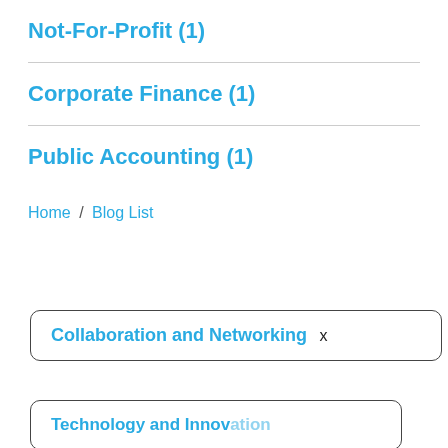Not-For-Profit (1)
Corporate Finance (1)
Public Accounting (1)
Home / Blog List
Collaboration and Networking x
Technology and Innovation